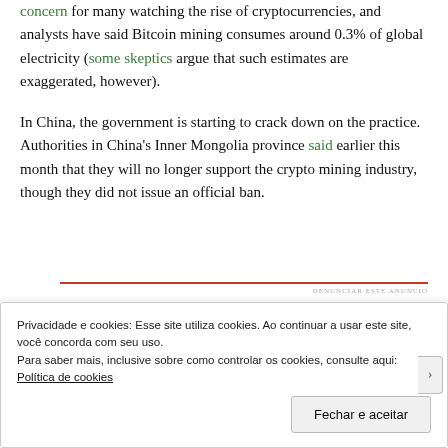concern for many watching the rise of cryptocurrencies, and analysts have said Bitcoin mining consumes around 0.3% of global electricity (some skeptics argue that such estimates are exaggerated, however).
In China, the government is starting to crack down on the practice. Authorities in China's Inner Mongolia province said earlier this month that they will no longer support the crypto mining industry, though they did not issue an official ban.
[Figure (other): Advertisement divider with red horizontal line and 'DENUNCIAR ESTE ANUNCIO' label]
Privacidade e cookies: Esse site utiliza cookies. Ao continuar a usar este site, você concorda com seu uso.
Para saber mais, inclusive sobre como controlar os cookies, consulte aqui:
Política de cookies
Fechar e aceitar